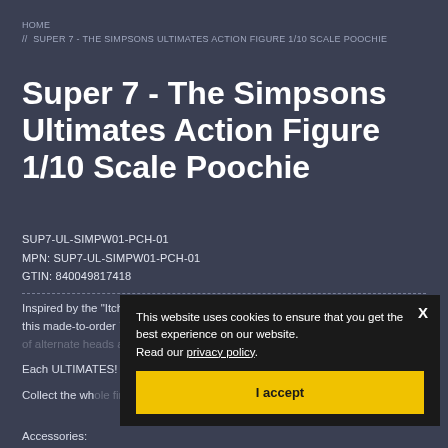HOME // SUPER 7 - THE SIMPSONS ULTIMATES ACTION FIGURE 1/10 SCALE POOCHIE
Super 7 - The Simpsons Ultimates Action Figure 1/10 Scale Poochie
SUP7-UL-SIMPW01-PCH-01
MPN: SUP7-UL-SIMPW01-PCH-01
GTIN: 840049817418
Inspired by the "Itchy & Scratchy & Poochie Show" episode of The Simpsons, this made-to-order 7" scale fully articulated ULTIMATES! figure features a load of alternate heads and hands, plus all the accessories you'd expect.
Each ULTIMATES! figure comes packaged in a deluxe slip-case window box.
Collect the whole first wave of The Simpsons ULTIMATES! figures!
Accessories:
This website uses cookies to ensure that you get the best experience on our website. Read our privacy policy. I accept